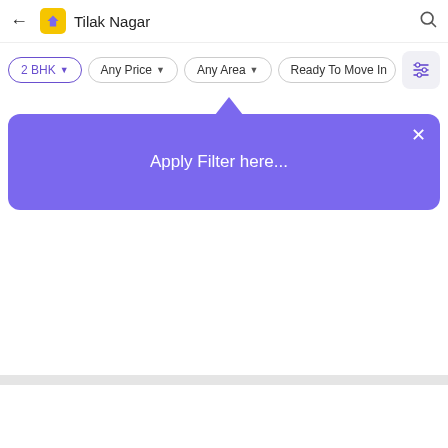[Figure (screenshot): Mobile app UI showing a search bar with 'Tilak Nagar' location, filter pills (2 BHK, Any Price, Any Area, Ready To Move In), a purple tooltip popup saying 'Apply Filter here...' with a close button, and mostly empty content area below.]